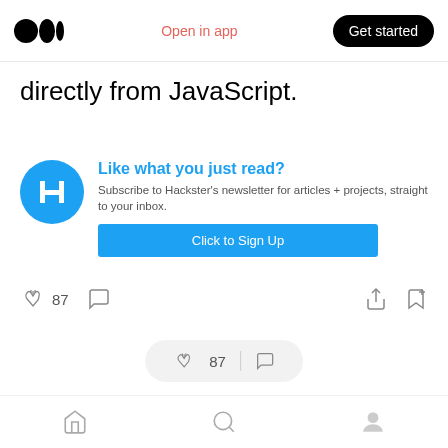Medium logo | Open in app | Get started
directly from JavaScript.
[Figure (infographic): Hackster newsletter signup card with blue circular Hackster logo, heading 'Like what you just read?', subtext 'Subscribe to Hackster’s newsletter for articles + projects, straight to your inbox.', and a blue 'Click to Sign Up' button]
[Figure (infographic): Article action bar showing clapping hands icon with count 87, comment bubble icon, share icon, and bookmark+ icon]
[Figure (infographic): Floating pill showing clapping hands icon with count 87 and comment bubble icon]
Home | Search | Profile bottom navigation bar